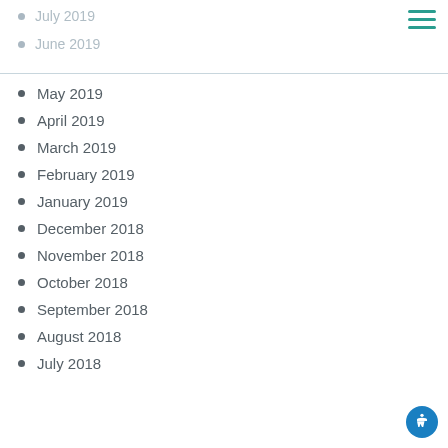July 2019
June 2019
May 2019
April 2019
March 2019
February 2019
January 2019
December 2018
November 2018
October 2018
September 2018
August 2018
July 2018